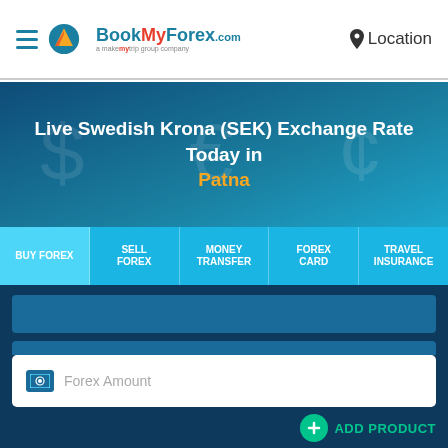BookMyForex.com — a MakeMyTrip group company | Location
Live Swedish Krona (SEK) Exchange Rate Today in Patna
BUY FOREX | SELL FOREX | MONEY TRANSFER | FOREX CARD | TRAVEL INSURANCE
Forex Amount
INR Amount
ADD PRODUCT